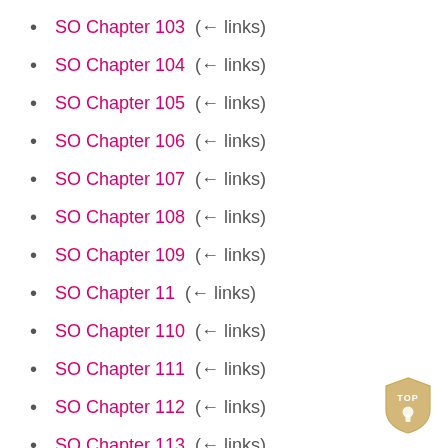SO Chapter 103  (← links)
SO Chapter 104  (← links)
SO Chapter 105  (← links)
SO Chapter 106  (← links)
SO Chapter 107  (← links)
SO Chapter 108  (← links)
SO Chapter 109  (← links)
SO Chapter 11  (← links)
SO Chapter 110  (← links)
SO Chapter 111  (← links)
SO Chapter 112  (← links)
SO Chapter 113  (← links)
SO Chapter 114  (← links)
[Figure (illustration): TOP button icon — a gold/tan shield-shaped icon with the word TOP and a keyhole figure]